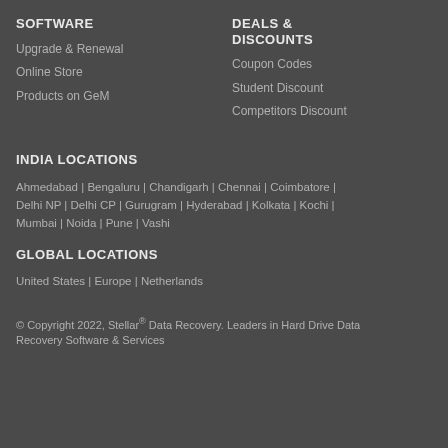SOFTWARE
Upgrade & Renewal
Online Store
Products on GeM
DEALS & DISCOUNTS
Coupon Codes
Student Discount
Competitors Discount
INDIA LOCATIONS
Ahmedabad | Bengaluru | Chandigarh | Chennai | Coimbatore | Delhi NP | Delhi CP | Gurugram | Hyderabad | Kolkata | Kochi | Mumbai | Noida | Pune | Vashi
GLOBAL LOCATIONS
United States | Europe | Netherlands
© Copyright 2022, Stellar® Data Recovery. Leaders in Hard Drive Data Recovery Software & Services